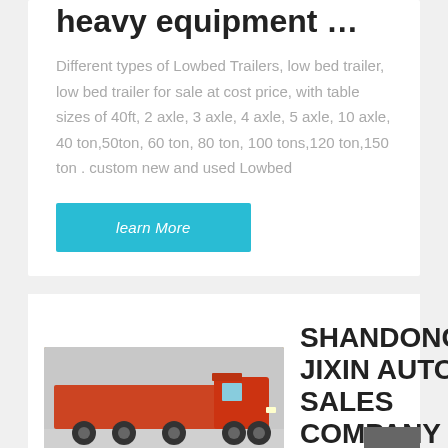heavy equipment …
Different types of Lowbed Trailers, low bed trailer, low bed trailer for sale at cost price, with table sizes of 40ft, 2 axle, 3 axle, 4 axle, 5 axle, 10 axle, 40 ton,50ton, 60 ton, 80 ton, 100 tons,120 ton,150 ton . custom new and used Lowbed
learn More
[Figure (photo): Red dump truck / heavy cargo truck photographed from the side]
SHANDONG JIXIN AUTO SALES COMPANY LIMITED